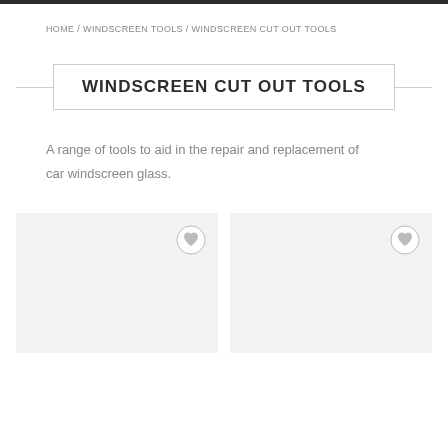HOME / WINDSCREEN TOOLS / WINDSCREEN CUT OUT TOOLS
WINDSCREEN CUT OUT TOOLS
A range of tools to aid in the repair and replacement of car windscreen glass.
[Figure (other): Two product card placeholders with wishlist heart icons]
[Figure (other): Product card placeholder with wishlist heart icon]